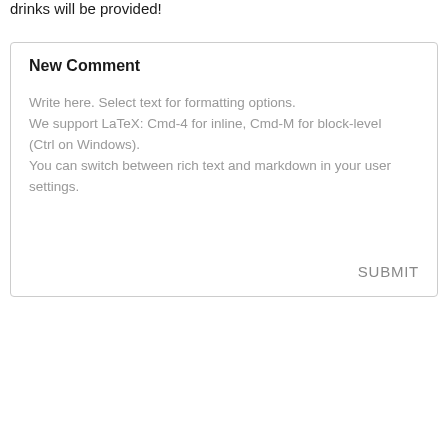drinks will be provided!
New Comment
Write here. Select text for formatting options.
We support LaTeX: Cmd-4 for inline, Cmd-M for block-level (Ctrl on Windows).
You can switch between rich text and markdown in your user settings.
SUBMIT